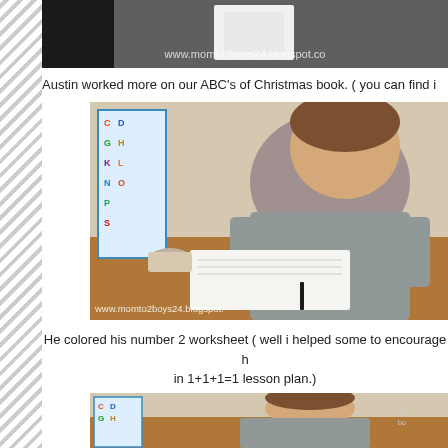[Figure (photo): Cropped top portion of a blog photo with watermark 'www.momto2boys24.blogspot.co']
Austin worked more on our ABC's of Christmas book. ( you can find i
[Figure (photo): A young boy sitting at a wooden table working on a worksheet, with an ABC alphabet chart visible in the background. Watermark reads 'www.momto2boys24.blogspot.']
He colored his number 2 worksheet ( well i helped some to encourage h in 1+1+1=1 lesson plan.)
[Figure (photo): Partially visible bottom photo showing a similar scene with ABC chart in background]